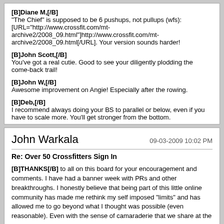[B]Diane M,[/B]
"The Chief" is supposed to be 6 pushups, not pullups (wfs): [URL="http://www.crossfit.com/mt-archive2/2008_09.html"]http://www.crossfit.com/mt-archive2/2008_09.html[/URL]. Your version sounds harder!
[B]John Scott,[/B]
You've got a real cutie. Good to see your diligently plodding the come-back trail!
[B]John W,[/B]
Awesome improvement on Angie! Especially after the rowing.
[B]Deb,[/B]
I recommend always doing your BS to parallel or below, even if you have to scale more. You'll get stronger from the bottom.
John Warkala
09-03-2009 10:02 PM
Re: Over 50 Crossfitters Sign In
[B]THANKS[/B] to all on this board for your encouragement and comments. I have had a banner week with PRs and other breakthroughs. I honestly believe that being part of this little online community has made me rethink my self imposed "limits" and has allowed me to go beyond what I thought was possible (even reasonable). Even with the sense of camaraderie that we share at the